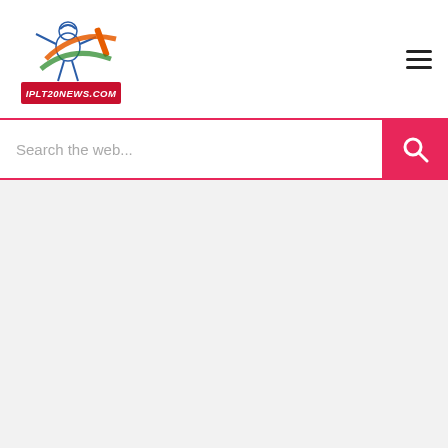[Figure (logo): IPLT20NEWS.COM logo with cricket player illustration in blue and orange/green colors on white background]
[Figure (infographic): Hamburger menu icon (three horizontal lines) in top right corner]
Search the web...
[Figure (infographic): Search button with magnifying glass icon on pink/red background]